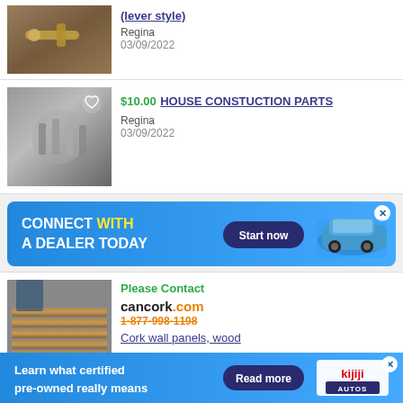[Figure (photo): Photo of a door handle lever style hardware on wood background]
(lever style)
Regina
03/09/2022
[Figure (photo): Photo of house construction parts, metal hardware pieces]
$10.00 HOUSE CONSTUCTION PARTS
Regina
03/09/2022
[Figure (infographic): Advertisement banner: CONNECT WITH A DEALER TODAY - Start now button, blue car image]
[Figure (photo): Photo of cork wall panels, wood stacked on pallets]
Please Contact
cancork.com
1-877-998-1198
Cork wall panels, wood
good at better functionality- sound isolation,
[Figure (infographic): Advertisement banner: Learn what certified pre-owned really means - Read more button, Kijiji Autos logo]